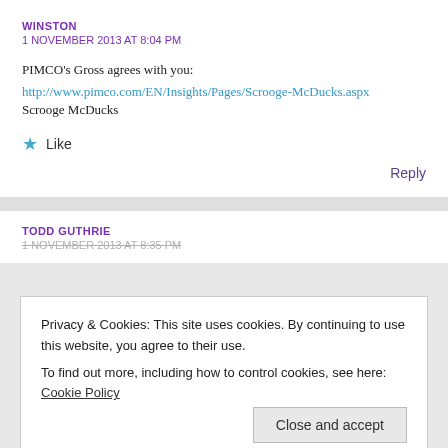WINSTON
1 NOVEMBER 2013 AT 8:04 PM
PIMCO's Gross agrees with you:
http://www.pimco.com/EN/Insights/Pages/Scrooge-McDucks.aspx
Scrooge McDucks
Like
Reply
TODD GUTHRIE
1 NOVEMBER 2013 AT 8:35 PM
Privacy & Cookies: This site uses cookies. By continuing to use this website, you agree to their use.
To find out more, including how to control cookies, see here: Cookie Policy
Close and accept
uses fuck it uses it simply to 'go'.